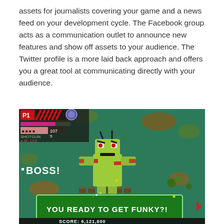assets for journalists covering your game and a news feed on your development cycle. The Facebook group acts as a communication outlet to announce new features and show off assets to your audience. The Twitter profile is a more laid back approach and offers you a great tool at communicating directly with your audience.
[Figure (screenshot): Video game screenshot showing a top-down shooter game with a boss character (yellow-green humanoid with red markings) standing on a teal field. HUD shows P1 with shotgun weapon (107 ammo, 5 reserve), level 6. Text on screen reads 'BOSS!' and a green dialog box says 'YOU READY TO GET FUNKY?!' Score partially visible at bottom: SCORE: 6,121,600]